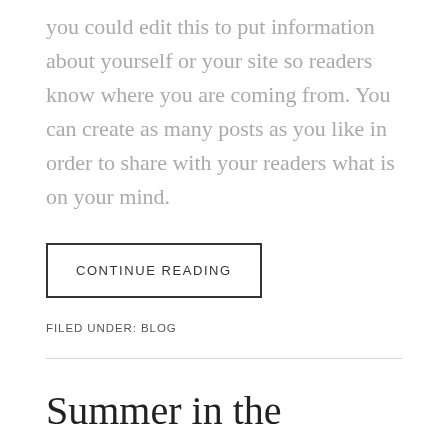you could edit this to put information about yourself or your site so readers know where you are coming from. You can create as many posts as you like in order to share with your readers what is on your mind.
CONTINUE READING
FILED UNDER: BLOG
Summer in the